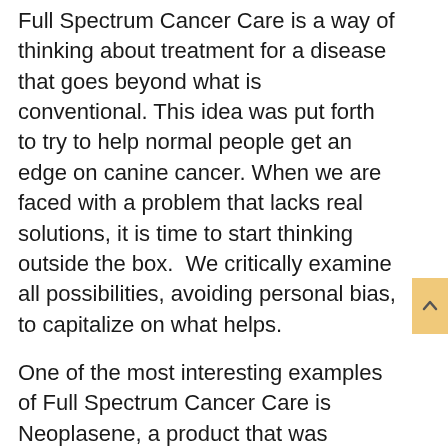Full Spectrum Cancer Care is a way of thinking about treatment for a disease that goes beyond what is conventional. This idea was put forth to try to help normal people get an edge on canine cancer. When we are faced with a problem that lacks real solutions, it is time to start thinking outside the box.  We critically examine all possibilities, avoiding personal bias, to capitalize on what helps.
One of the most interesting examples of Full Spectrum Cancer Care is Neoplasene, a product that was developed by Dr. Terrance Fox. Is he an oncologist?  In other words, is his focus on conventional chemotherapy, surgery or radiation? None